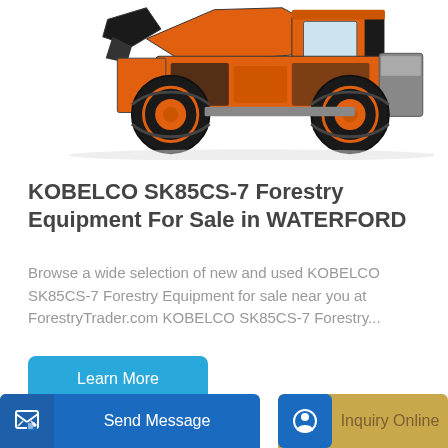[Figure (photo): Orange and black KOBELCO SK85CS-7 wheel loader/forestry equipment photographed from the side, showing large tires with orange rims, front loader attachment, and cab]
KOBELCO SK85CS-7 Forestry Equipment For Sale in WATERFORD
Browse a wide selection of new and used KOBELCO SK85CS-7 Forestry Equipment for sale near you at ForestryTrader.com KOBELCO SK85CS-7 Forestry...
Learn More
Send Message
Inquiry Online